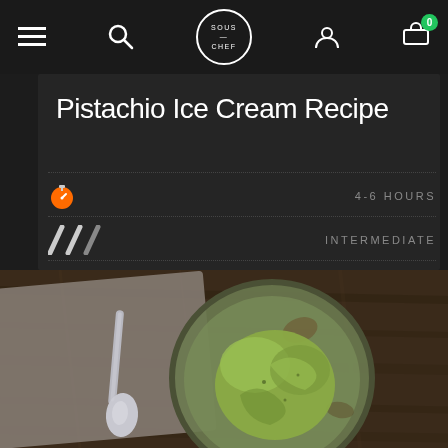Sous Chef navigation bar with menu, search, logo, account, and cart icons
Pistachio Ice Cream Recipe
4-6 HOURS
INTERMEDIATE
[Figure (photo): Overhead photo of a ceramic bowl containing green pistachio ice cream scoops, with a silver spoon beside it on a linen napkin, on a dark wooden table]